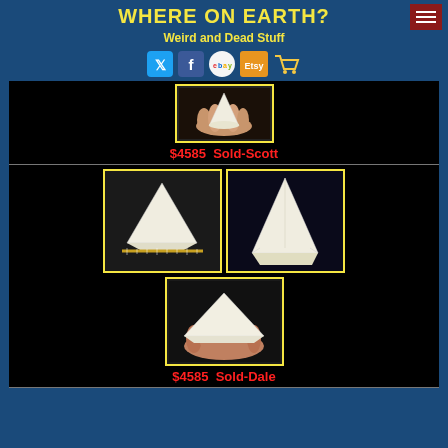WHERE ON EARTH? Weird and Dead Stuff
[Figure (screenshot): Website header with social media icons (Twitter, Facebook, eBay, Etsy, Cart) and hamburger menu button on dark blue background]
[Figure (photo): Hand holding a white shark tooth, shown from below]
$4585  Sold-Scott
[Figure (photo): Two photos of a white great white shark tooth with yellow border - side view with ruler and front view]
[Figure (photo): Hand holding a large white shark tooth from above]
$4585  Sold-Dale